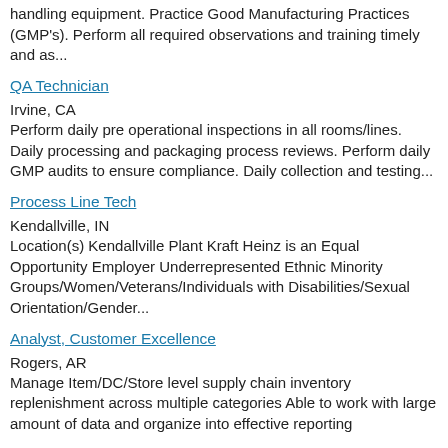handling equipment. Practice Good Manufacturing Practices (GMP's). Perform all required observations and training timely and as...
QA Technician
Irvine, CA
Perform daily pre operational inspections in all rooms/lines. Daily processing and packaging process reviews. Perform daily GMP audits to ensure compliance. Daily collection and testing...
Process Line Tech
Kendallville, IN
Location(s) Kendallville Plant Kraft Heinz is an Equal Opportunity Employer Underrepresented Ethnic Minority Groups/Women/Veterans/Individuals with Disabilities/Sexual Orientation/Gender...
Analyst, Customer Excellence
Rogers, AR
Manage Item/DC/Store level supply chain inventory replenishment across multiple categories Able to work with large amount of data and organize into effective reporting